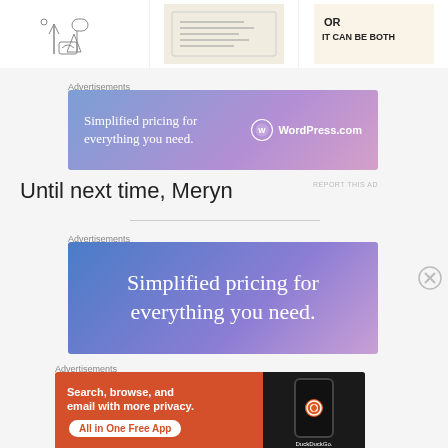[Figure (illustration): Three small thumbnail images in a horizontal strip at the top of the page]
Advertisements
[Figure (illustration): WordPress.com advertisement banner: 'Simplified pricing for everything you need.' with WordPress logo]
REPORT THIS AD
Until next time, Meryn
Advertisements
[Figure (illustration): WordPress.com advertisement banner (larger): 'Simplified pricing for everything you need.']
Advertisements
[Figure (illustration): DuckDuckGo advertisement: 'Search, browse, and email with more privacy. All in One Free App' with DuckDuckGo logo and phone image]